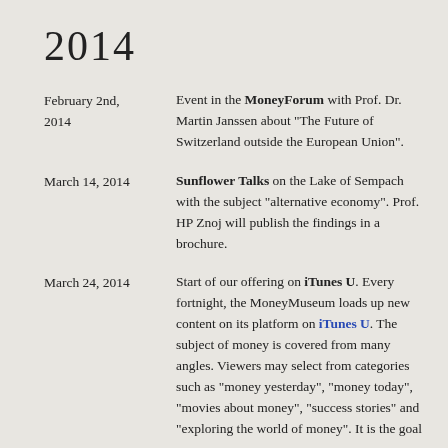2014
February 2nd, 2014 — Event in the MoneyForum with Prof. Dr. Martin Janssen about "The Future of Switzerland outside the European Union".
March 14, 2014 — Sunflower Talks on the Lake of Sempach with the subject "alternative economy". Prof. HP Znoj will publish the findings in a brochure.
March 24, 2014 — Start of our offering on iTunes U. Every fortnight, the MoneyMuseum loads up new content on its platform on iTunes U. The subject of money is covered from many angles. Viewers may select from categories such as "money yesterday", "money today", "movies about money", "success stories" and "exploring the world of money". It is the goal